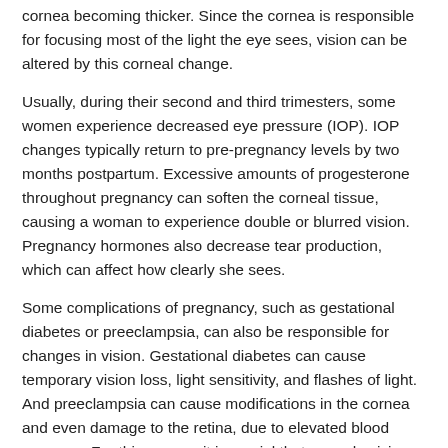cornea becoming thicker. Since the cornea is responsible for focusing most of the light the eye sees, vision can be altered by this corneal change.
Usually, during their second and third trimesters, some women experience decreased eye pressure (IOP). IOP changes typically return to pre-pregnancy levels by two months postpartum. Excessive amounts of progesterone throughout pregnancy can soften the corneal tissue, causing a woman to experience double or blurred vision. Pregnancy hormones also decrease tear production, which can affect how clearly she sees.
Some complications of pregnancy, such as gestational diabetes or preeclampsia, can also be responsible for changes in vision. Gestational diabetes can cause temporary vision loss, light sensitivity, and flashes of light. And preeclampsia can cause modifications in the cornea and even damage to the retina, due to elevated blood pressure. For this reason, it is crucial that your physician regularly monitor your blood sugar levels and blood pressure.
We Can Manage Pregnancy-Related